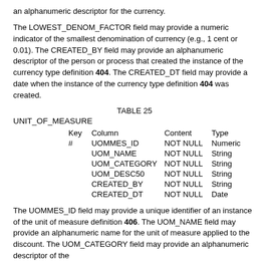an alphanumeric descriptor for the currency.
The LOWEST_DENOM_FACTOR field may provide a numeric indicator of the smallest denomination of currency (e.g., 1 cent or 0.01). The CREATED_BY field may provide an alphanumeric descriptor of the person or process that created the instance of the currency type definition 404. The CREATED_DT field may provide a date when the instance of the currency type definition 404 was created.
TABLE 25
UNIT_OF_MEASURE
| Key | Column | Content | Type |
| --- | --- | --- | --- |
| # | UOMMES_ID | NOT NULL | Numeric |
|  | UOM_NAME | NOT NULL | String |
|  | UOM_CATEGORY | NOT NULL | String |
|  | UOM_DESC50 | NOT NULL | String |
|  | CREATED_BY | NOT NULL | String |
|  | CREATED_DT | NOT NULL | Date |
The UOMMES_ID field may provide a unique identifier of an instance of the unit of measure definition 406. The UOM_NAME field may provide an alphanumeric name for the unit of measure applied to the discount. The UOM_CATEGORY field may provide an alphanumeric descriptor of the